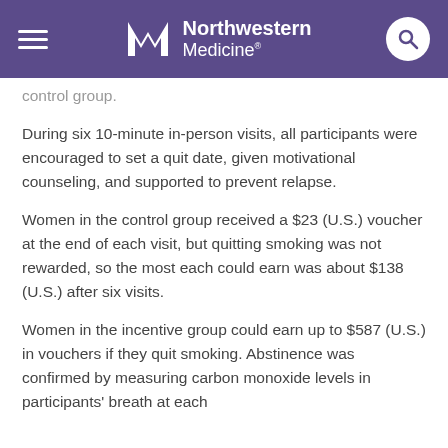Northwestern Medicine
control group.
During six 10-minute in-person visits, all participants were encouraged to set a quit date, given motivational counseling, and supported to prevent relapse.
Women in the control group received a $23 (U.S.) voucher at the end of each visit, but quitting smoking was not rewarded, so the most each could earn was about $138 (U.S.) after six visits.
Women in the incentive group could earn up to $587 (U.S.) in vouchers if they quit smoking. Abstinence was confirmed by measuring carbon monoxide levels in participants' breath at each